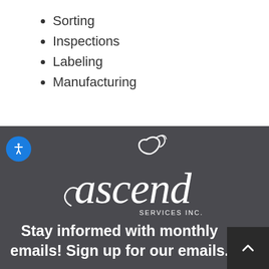Sorting
Inspections
Labeling
Manufacturing
[Figure (logo): Ascend Services Inc. logo in white cursive script on dark gray background]
Stay informed with monthly emails! Sign up for our emails.